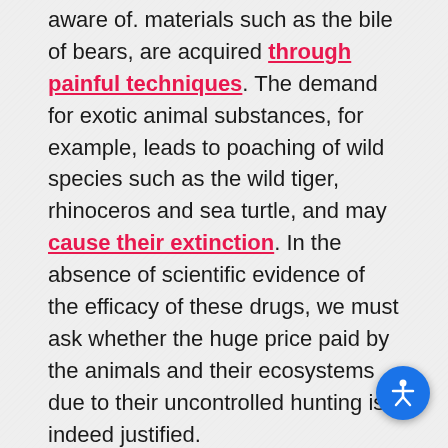aware of. materials such as the bile of bears, are acquired through painful techniques. The demand for exotic animal substances, for example, leads to poaching of wild species such as the wild tiger, rhinoceros and sea turtle, and may cause their extinction. In the absence of scientific evidence of the efficacy of these drugs, we must ask whether the huge price paid by the animals and their ecosystems due to their uncontrolled hunting is indeed justified.
If so, certain herbs actually do contain active substances that were found effective in treating diseases, and traditional remedies have great potential for finding cures for diseases, which